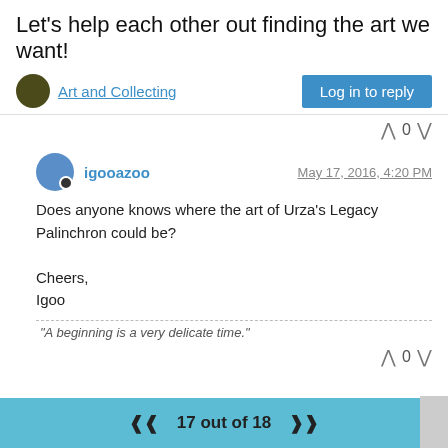Let's help each other out finding the art we want!
Art and Collecting
Log in to reply
igooazoo  May 17, 2016, 4:20 PM
Does anyone knows where the art of Urza's Legacy Palinchron could be?

Cheers,
Igoo
“A beginning is a very delicate time.”
17 out of 18